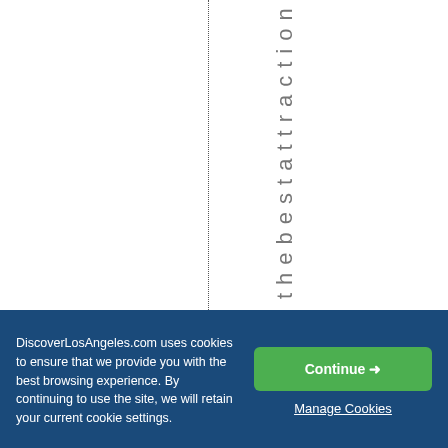thebestattraction
DiscoverLosAngeles.com uses cookies to ensure that we provide you with the best browsing experience. By continuing to use the site, we will retain your current cookie settings.
Continue →
Manage Cookies